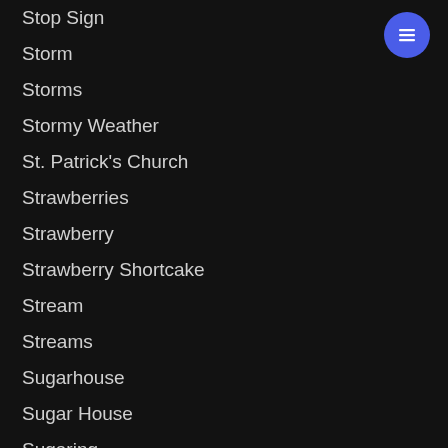Stop Sign
Storm
Storms
Stormy Weather
St. Patrick's Church
Strawberries
Strawberry
Strawberry Shortcake
Stream
Streams
Sugarhouse
Sugar House
Sugaring
[Figure (illustration): Blue circular menu button with three horizontal white lines (hamburger icon) in top right corner]